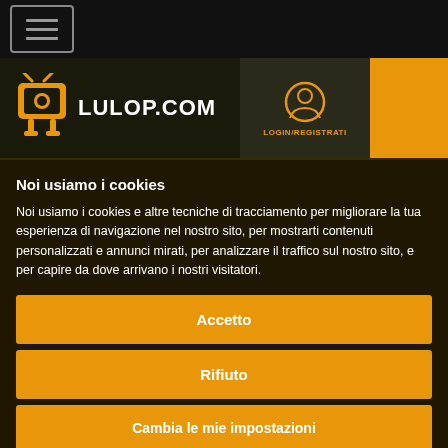☰ (hamburger menu button)
[Figure (logo): Lulop.com logo with orange TV character icon and white bold text LULOP.COM on dark background, with LOGIN/REGISTRATI icon on right side]
Noi usiamo i cookies
Noi usiamo i cookies e altre tecniche di tracciamento per migliorare la tua esperienza di navigazione nel nostro sito, per mostrarti contenuti personalizzati e annunci mirati, per analizzare il traffico sul nostro sito, e per capire da dove arrivano i nostri visitatori.
Accetto
Rifiuto
Cambia le mie impostazioni